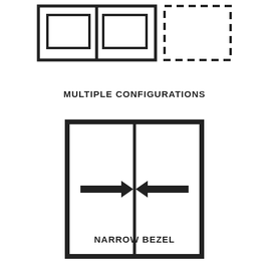[Figure (schematic): Multiple configurations diagram: two solid-bordered rectangular panels side by side on the left, and one dashed-bordered rectangular panel on the right, suggesting modular/expandable display configurations.]
MULTIPLE CONFIGURATIONS
[Figure (schematic): Narrow bezel diagram: a large square with thick border divided into two equal panels by a vertical center line. Two opposing horizontal arrows point toward the center vertical line from each panel, indicating a narrow bezel join.]
NARROW BEZEL